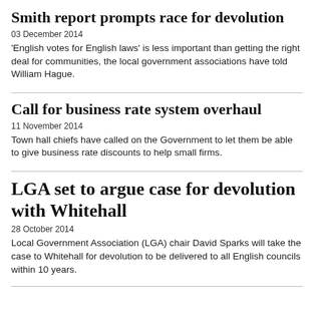Smith report prompts race for devolution
03 December 2014
'English votes for English laws' is less important than getting the right deal for communities, the local government associations have told William Hague.
Call for business rate system overhaul
11 November 2014
Town hall chiefs have called on the Government to let them be able to give business rate discounts to help small firms.
LGA set to argue case for devolution with Whitehall
28 October 2014
Local Government Association (LGA) chair David Sparks will take the case to Whitehall for devolution to be delivered to all English councils within 10 years.